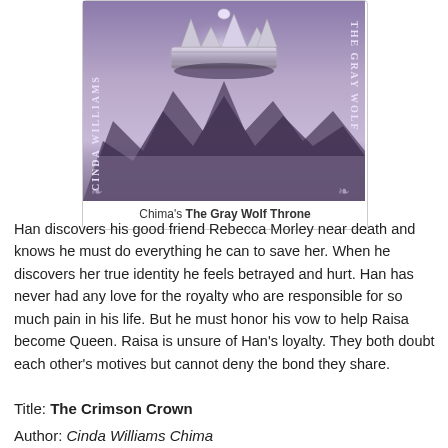[Figure (illustration): Book cover of The Gray Wolf Throne by Cinda Williams Chima, featuring a silver crown floating above misty purple mountains with text 'CINDA WILLIAMS' on the left side and 'THE GRAY WOLF' on the right side]
Chima's The Gray Wolf Throne
Han discovers his good friend Rebecca Morley near death and knows he must do everything he can to save her. When he discovers her true identity he feels betrayed and hurt. Han has never had any love for the royalty who are responsible for so much pain in his life. But he must honor his vow to help Raisa become Queen. Raisa is unsure of Han's loyalty. They both doubt each other's motives but cannot deny the bond they share.
Title: The Crimson Crown
Author: Cinda Williams Chima